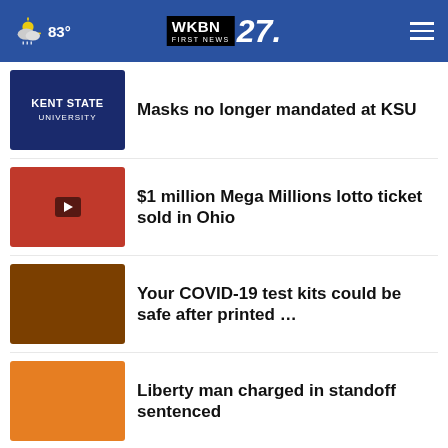[Figure (screenshot): WKBN 27 First News website header with weather (cloud/snow icon, 83°), centered WKBN 27 First News logo, and hamburger menu icon on blue background]
Masks no longer mandated at KSU
$1 million Mega Millions lotto ticket sold in Ohio
Your COVID-19 test kits could be safe after printed …
Liberty man charged in standoff sentenced
How do I know if I have a Pell Grant?
More Stories ▸